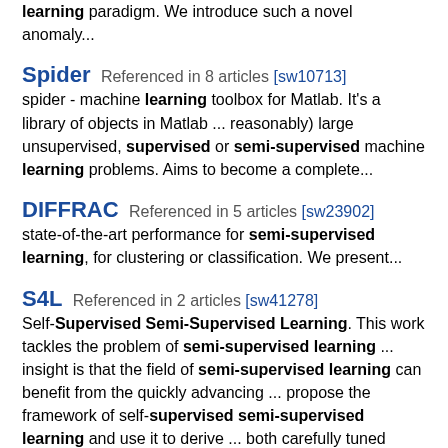learning paradigm. We introduce such a novel anomaly...
Spider   Referenced in 8 articles  [sw10713]
spider - machine learning toolbox for Matlab. It's a library of objects in Matlab ... reasonably) large unsupervised, supervised or semi-supervised machine learning problems. Aims to become a complete...
DIFFRAC   Referenced in 5 articles  [sw23902]
state-of-the-art performance for semi-supervised learning, for clustering or classification. We present...
S4L   Referenced in 2 articles  [sw41278]
Self-Supervised Semi-Supervised Learning. This work tackles the problem of semi-supervised learning ... insight is that the field of semi-supervised learning can benefit from the quickly advancing ... propose the framework of self-supervised semi-supervised learning and use it to derive ... both carefully tuned baselines, and